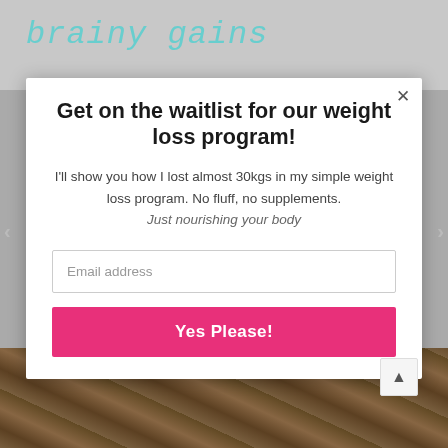[Figure (screenshot): Website background with blog logo text 'brainy gains' in teal cursive font at top, grey blurred background, food photo at bottom]
Get on the waitlist for our weight loss program!
I'll show you how I lost almost 30kgs in my simple weight loss program. No fluff, no supplements. Just nourishing your body
Email address
Yes Please!